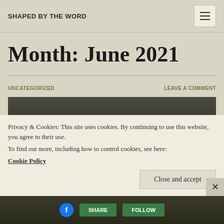SHAPED BY THE WORD
Month: June 2021
UNCATEGORIZED
LEAVE A COMMENT
[Figure (photo): Dark textured background image, partially visible]
Privacy & Cookies: This site uses cookies. By continuing to use this website, you agree to their use.
To find out more, including how to control cookies, see here:
Cookie Policy
Close and accept
[Figure (screenshot): Bottom image strip with green buttons on dark background]